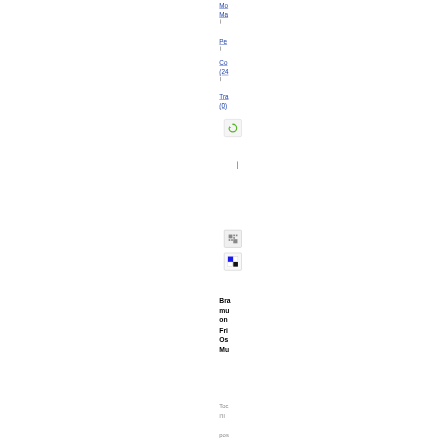Mo
Ma
Pe
Co
(24
Tra
(0)
[Figure (screenshot): Small icon with green circular arrow (refresh/sync icon)]
|
[Figure (screenshot): Small icon resembling QR code or grid]
[Figure (screenshot): Small icon with blue and black squares]
Bra
mu
on
Fri
Os
Mu
Toc
I'll
pos